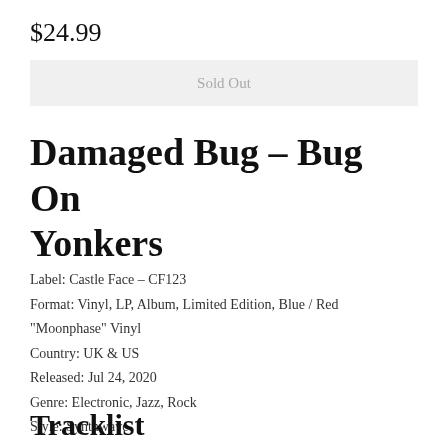$24.99
Sold Out
Damaged Bug – Bug On Yonkers
Label: Castle Face – CF123
Format: Vinyl, LP, Album, Limited Edition, Blue / Red "Moonphase" Vinyl
Country: UK & US
Released: Jul 24, 2020
Genre: Electronic, Jazz, Rock
Style: Synthwave
Tracklist